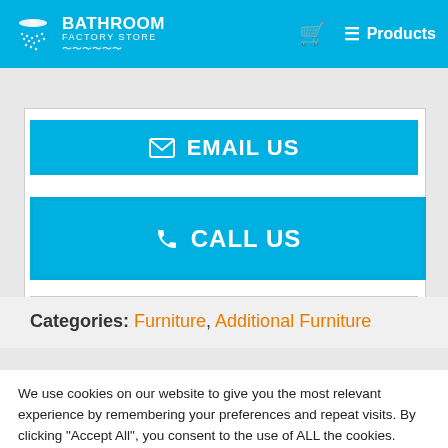BATHROOM FACTORY STORE — Products
EMAIL US
CALL US
Categories: Furniture, Additional Furniture
We use cookies on our website to give you the most relevant experience by remembering your preferences and repeat visits. By clicking "Accept All", you consent to the use of ALL the cookies. However, you may visit "Cookie Settings" to provide a controlled consent.
Cookie Settings
Accept All